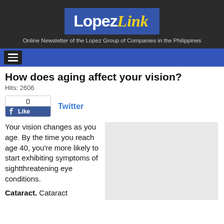Lopez Link — Online Newsletter of the Lopez Group of Companies in the Philippines
How does aging affect your vision?
Hits: 2606
[Figure (screenshot): Facebook Like button widget showing 0 likes, and a Twitter link]
Your vision changes as you age. By the time you reach age 40, you're more likely to start exhibiting symptoms of sightthreatening eye conditions.
[Figure (photo): Gray placeholder image box]
Cataract. Cataract